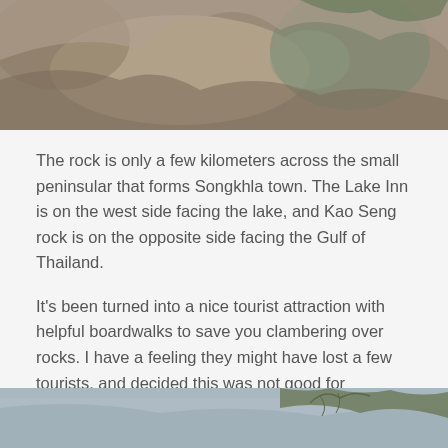[Figure (photo): Close-up photo of rocks with water, moss, and stone textures at Kao Seng rock area]
The rock is only a few kilometers across the small peninsular that forms Songkhla town. The Lake Inn is on the west side facing the lake, and Kao Seng rock is on the opposite side facing the Gulf of Thailand.
It's been turned into a nice tourist attraction with helpful boardwalks to save you clambering over rocks. I have a feeling they might have lost a few tourists, and decided this was not good for business. Some handrails would be a nice addition though…
[Figure (photo): Photo of water and tree branches at Kao Seng rock coastal area]